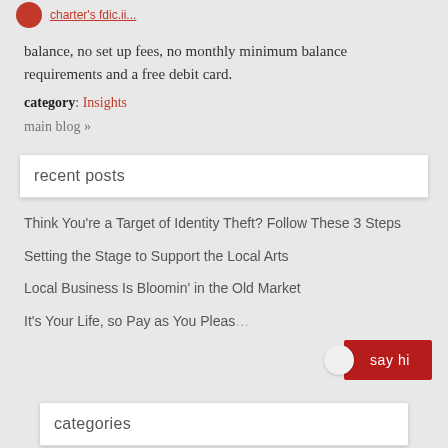balance, no set up fees, no monthly minimum balance requirements and a free debit card.
category: Insights
main blog »
recent posts
Think You're a Target of Identity Theft? Follow These 3 Steps
Setting the Stage to Support the Local Arts
Local Business Is Bloomin' in the Old Market
It's Your Life, so Pay as You Pleas…
categories